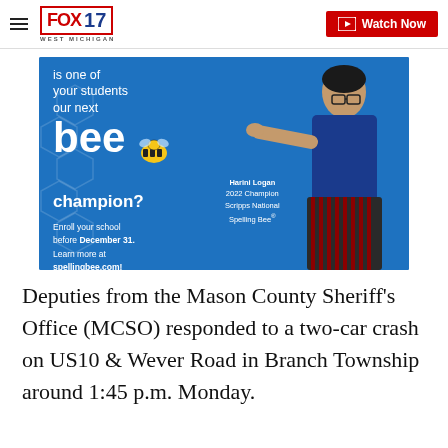FOX 17 WEST MICHIGAN | Watch Now
[Figure (advertisement): Scripps National Spelling Bee advertisement on blue background featuring Harini Logan, 2022 Champion. Text reads: 'is one of your students our next bee champion? Enroll your school before December 31. Learn more at spellingbee.com!' with photo of young woman in blue dress pointing.]
Deputies from the Mason County Sheriff's Office (MCSO) responded to a two-car crash on US10 & Wever Road in Branch Township around 1:45 p.m. Monday.